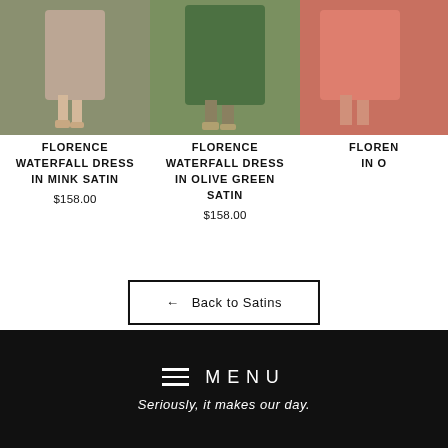[Figure (photo): Product photo: Florence Waterfall Dress in Mink Satin, showing lower half of woman in mauve/mink satin dress and strappy heels on grass]
FLORENCE WATERFALL DRESS IN MINK SATIN
$158.00
[Figure (photo): Product photo: Florence Waterfall Dress in Olive Green Satin, showing lower half of woman in olive green satin dress and strappy heels on grass]
FLORENCE WATERFALL DRESS IN OLIVE GREEN SATIN
$158.00
[Figure (photo): Product photo: Florence Waterfall Dress (third variant, partially visible), showing lower half of woman in orange/coral dress]
FLOREN...
IN O...
← Back to Satins
ON SOCIAL
MENU
Seriously, it makes our day.